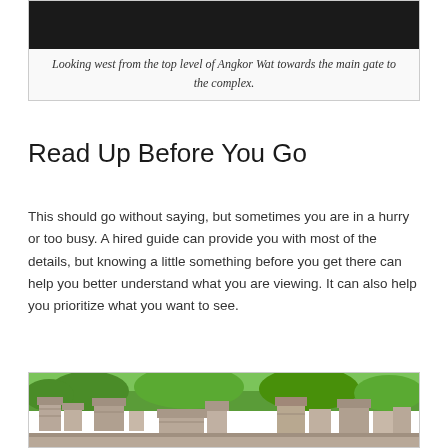[Figure (photo): Dark interior photo looking west from the top level of Angkor Wat towards the main gate to the complex]
Looking west from the top level of Angkor Wat towards the main gate to the complex.
Read Up Before You Go
This should go without saying, but sometimes you are in a hurry or too busy. A hired guide can provide you with most of the details, but knowing a little something before you get there can help you better understand what you are viewing. It can also help you prioritize what you want to see.
[Figure (photo): Ancient stone ruins of Angkor Wat complex with green trees in the background, stone walls and columns visible]